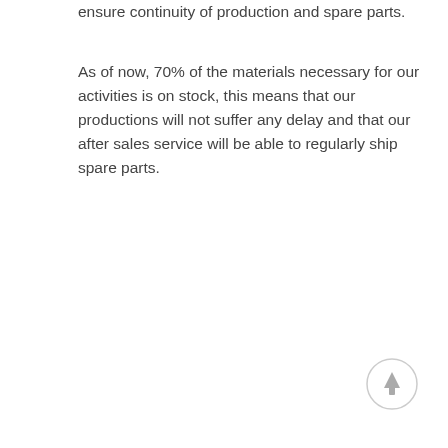ensure continuity of production and spare parts.
As of now, 70% of the materials necessary for our activities is on stock, this means that our productions will not suffer any delay and that our after sales service will be able to regularly ship spare parts.
[Figure (other): A circular back-to-top button with an upward arrow icon, light gray border and gray arrow]